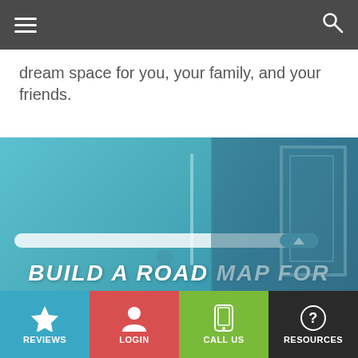[hamburger menu] [search icon]
dream space for you, your family, and your friends.
[Figure (photo): Blue-tinted interior room photo with a door visible on the right side, overlaid with a progress/scroll bar and large white bold italic text reading BUILD A ROAD MAP FOR]
BUILD A ROAD MAP FOR
REVIEWS | LOGIN | CALL US | RESOURCES